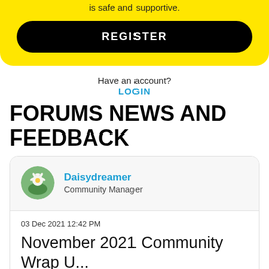[Figure (other): Yellow registration banner with REGISTER button]
Have an account?
LOGIN
FORUMS NEWS AND FEEDBACK
[Figure (other): Forum post card with Daisydreamer avatar (daisy flower photo), username Daisydreamer in teal, role Community Manager]
03 Dec 2021 12:42 PM
November 2021 Community Wrap Up